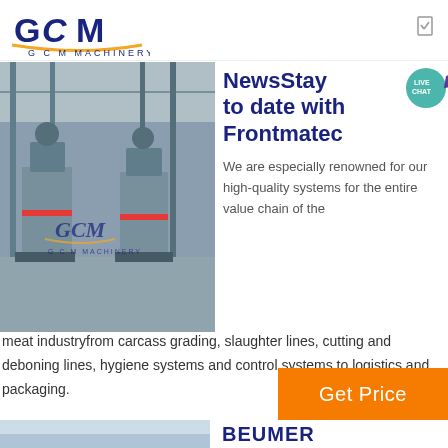[Figure (logo): GCM Machinery logo with stylized G C M letters in blue and gold underline]
[Figure (photo): Industrial grinding mill machines in a factory warehouse, GCM Machinery watermark overlay]
NewsStay to date with Frontmatec
We are especially renowned for our high-quality systems for the entire value chain of the meat industryfrom carcass grading, slaughter lines, cutting and deboning lines, hygiene systems and control systems to logistics and packaging.
Get Price
BEUMER